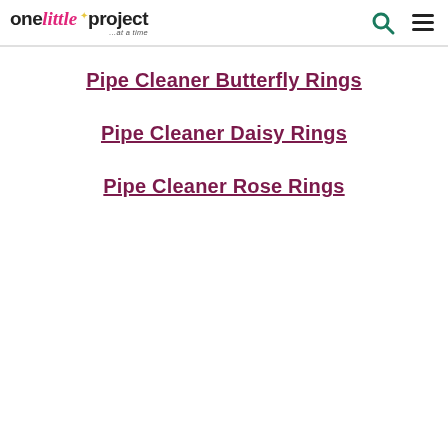one little project ...at a time
Pipe Cleaner Butterfly Rings
Pipe Cleaner Daisy Rings
Pipe Cleaner Rose Rings